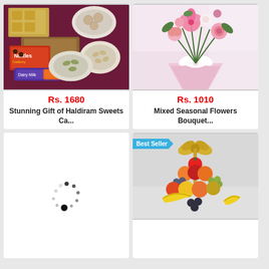[Figure (photo): Snack/sweets gift hamper with Cadbury Nutties, Dairy Milk, mithai, pistachios and cashews on a dark maroon background]
Rs. 1680
Stunning Gift of Haldiram Sweets Ca...
Earliest Delivery : 5-Sep
[Figure (photo): Mixed seasonal pink flowers bouquet with lilies, roses and carnations wrapped in pink paper with white ribbon bow]
Rs. 1010
Mixed Seasonal Flowers Bouquet...
Earliest Delivery : 3-Sep
[Figure (photo): Loading spinner indicator (dots in circular arrangement) on white background]
[Figure (photo): Best Seller badge: fruit basket/arrangement with apples, grapes, bananas, peaches and gold ribbon bow on grey background]